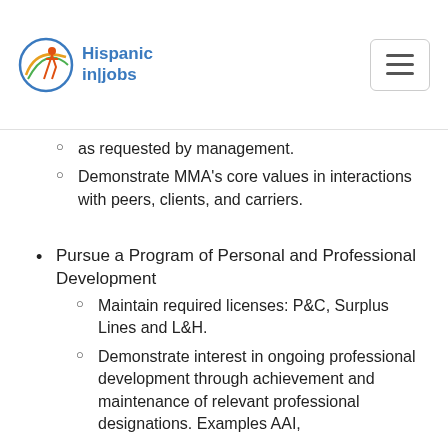Hispanic in|jobs
as requested by management.
Demonstrate MMA's core values in interactions with peers, clients, and carriers.
Pursue a Program of Personal and Professional Development
Maintain required licenses: P&C, Surplus Lines and L&H.
Demonstrate interest in ongoing professional development through achievement and maintenance of relevant professional designations. Examples AAI,